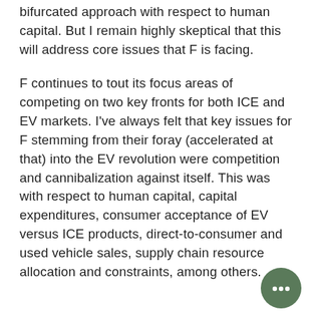bifurcated approach with respect to human capital. But I remain highly skeptical that this will address core issues that F is facing.
F continues to tout its focus areas of competing on two key fronts for both ICE and EV markets. I've always felt that key issues for F stemming from their foray (accelerated at that) into the EV revolution were competition and cannibalization against itself. This was with respect to human capital, capital expenditures, consumer acceptance of EV versus ICE products, direct-to-consumer and used vehicle sales, supply chain resource allocation and constraints, among others.